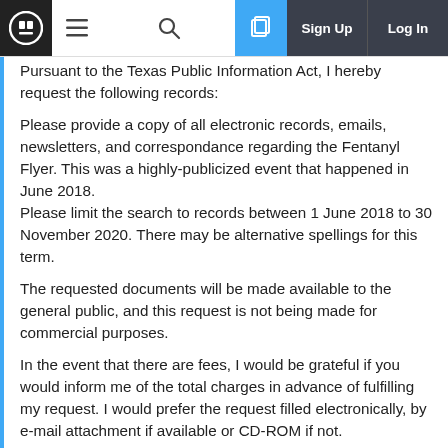Sign Up  Log In
Pursuant to the Texas Public Information Act, I hereby request the following records:
Please provide a copy of all electronic records, emails, newsletters, and correspondance regarding the Fentanyl Flyer. This was a highly-publicized event that happened in June 2018.
Please limit the search to records between 1 June 2018 to 30 November 2020. There may be alternative spellings for this term.
The requested documents will be made available to the general public, and this request is not being made for commercial purposes.
In the event that there are fees, I would be grateful if you would inform me of the total charges in advance of fulfilling my request. I would prefer the request filled electronically, by e-mail attachment if available or CD-ROM if not.